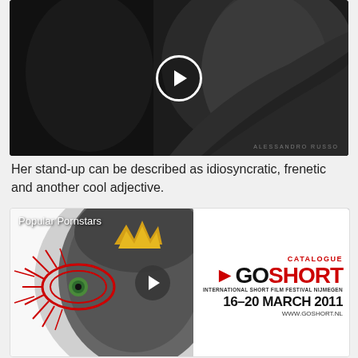[Figure (photo): Black and white artistic photo with play button overlay and watermark reading ALESSANDRO RUSSO]
Her stand-up can be described as idiosyncratic, frenetic and another cool adjective.
[Figure (photo): Artistic image with face illustration showing red radiating eye design and crown, with overlay text 'Popular Pornstars' and GoShort International Short Film Festival Nijmegen catalogue info: 16-20 March 2011, www.goshort.nl, play button overlay]